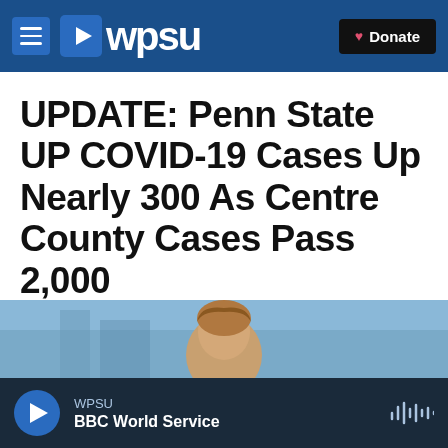WPSU | Donate
UPDATE: Penn State UP COVID-19 Cases Up Nearly 300 As Centre County Cases Pass 2,000
WPSU | By Anne Danahy
Published September 22, 2020 at 12:04 PM EDT
[Figure (photo): Partial photo of a person, visible from the top of the head, cropped at the bottom of the page]
WPSU BBC World Service (audio player bar)